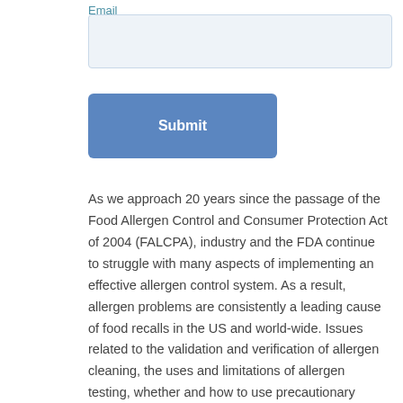Email
[Figure (other): Email input field (form text box with light blue background)]
[Figure (other): Submit button (blue rounded rectangle with white bold text 'Submit')]
As we approach 20 years since the passage of the Food Allergen Control and Consumer Protection Act of 2004 (FALCPA), industry and the FDA continue to struggle with many aspects of implementing an effective allergen control system. As a result, allergen problems are consistently a leading cause of food recalls in the US and world-wide. Issues related to the validation and verification of allergen cleaning, the uses and limitations of allergen testing, whether and how to use precautionary advisory labels, and understanding consumer needs remain as important today as they were when FALCPA was